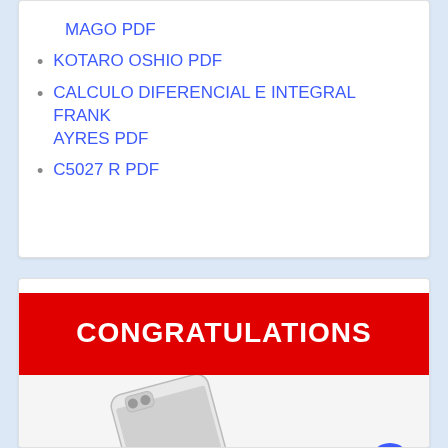MAGO PDF
KOTARO OSHIO PDF
CALCULO DIFERENCIAL E INTEGRAL FRANK AYRES PDF
C5027 R PDF
[Figure (illustration): Red banner with white bold text 'CONGRATULATIONS' above a promotional image of a smartphone (iPhone-like device) with a clear case, shown at an angle on a white/gray background. A blue circular scroll-to-top button is visible in the lower right.]